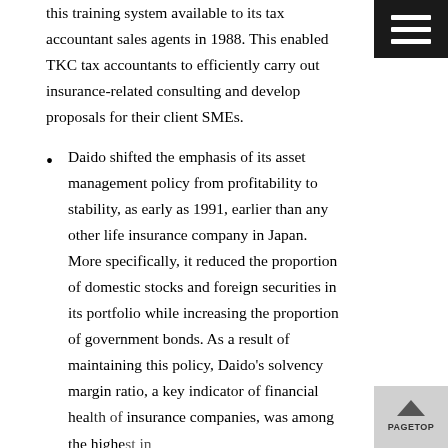this training system available to its tax accountant sales agents in 1988. This enabled TKC tax accountants to efficiently carry out insurance-related consulting and develop proposals for their client SMEs.
Daido shifted the emphasis of its asset management policy from profitability to stability, as early as 1991, earlier than any other life insurance company in Japan. More specifically, it reduced the proportion of domestic stocks and foreign securities in its portfolio while increasing the proportion of government bonds. As a result of maintaining this policy, Daido's solvency margin ratio, a key indicator of financial health of insurance companies, was among the highest in